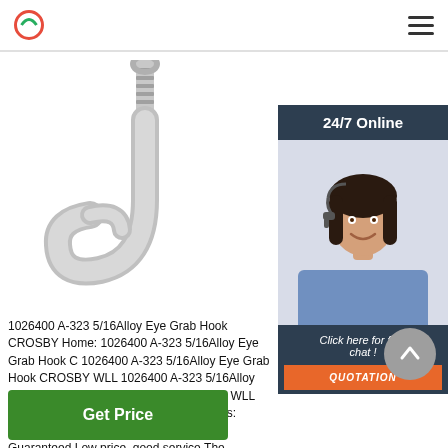24/7 Online
[Figure (photo): A metal alloy eye grab hook, silver/grey color, photographed against a white background, showing screw eye and hook shape.]
[Figure (photo): Customer service representative woman wearing headset, smiling, with dark hair, blue shirt. A dark navy banner overlay at top reads '24/7 Online'. An orange button says 'QUOTATION'. Dark overlay text says 'Click here for free chat !'.]
1026400 A-323 5/16Alloy Eye Grab Hook CROSBY Home: 1026400 A-323 5/16Alloy Eye Grab Hook C 1026400 A-323 5/16Alloy Eye Grab Hook CROSBY WLL 1026400 A-323 5/16Alloy Eye Grab Hook,A-3 Grab Hook CROSBY WLL (1026400): Pulling And Lifting Turnbuckles: Industrial & Scientific,Authenticity Guaranteed,Low price, good service,The Contemporary Fashion Site,Big L Small Prices.
Get Price